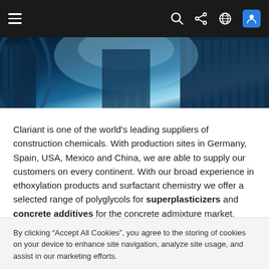Navigation bar with hamburger menu, search, share, globe, and user icons
[Figure (photo): Looking up view of tall glass skyscrapers with blue sky, tinted in dark blue tones]
Clariant is one of the world's leading suppliers of construction chemicals. With production sites in Germany, Spain, USA, Mexico and China, we are able to supply our customers on every continent. With our broad experience in ethoxylation products and surfactant chemistry we offer a selected range of polyglycols for superplasticizers and concrete additives for the concrete admixture market.
By clicking “Accept All Cookies”, you agree to the storing of cookies on your device to enhance site navigation, analyze site usage, and assist in our marketing efforts.